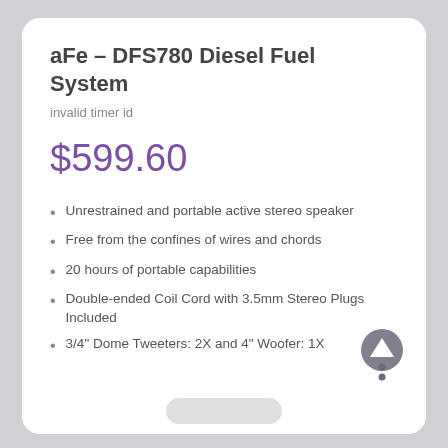aFe – DFS780 Diesel Fuel System
invalid timer id
$599.60
Unrestrained and portable active stereo speaker
Free from the confines of wires and chords
20 hours of portable capabilities
Double-ended Coil Cord with 3.5mm Stereo Plugs Included
3/4" Dome Tweeters: 2X and 4" Woofer: 1X